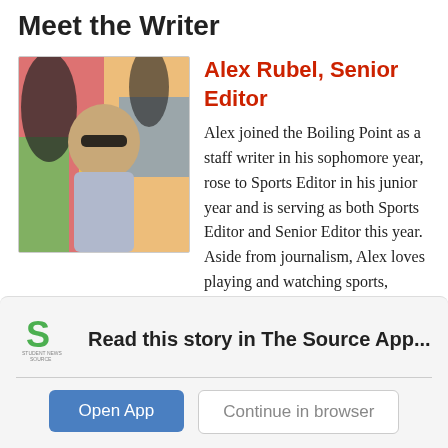Meet the Writer
[Figure (photo): Photo of Alex Rubel, a young man wearing sunglasses and a grey polo shirt, standing in front of a colorful graffiti wall.]
Alex Rubel, Senior Editor
Alex joined the Boiling Point as a staff writer in his sophomore year, rose to Sports Editor in his junior year and is serving as both Sports Editor and Senior Editor this year. Aside from journalism, Alex loves playing and watching sports, flying planes and following the stock market.
[Figure (logo): Student News Source logo — green stylized S with 'STUDENT NEWS SOURCE' text below]
Read this story in The Source App...
Open App
Continue in browser